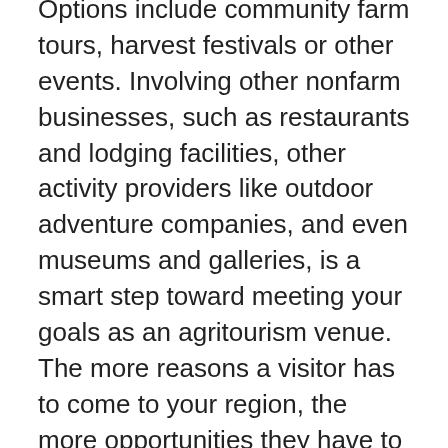Options include community farm tours, harvest festivals or other events. Involving other nonfarm businesses, such as restaurants and lodging facilities, other activity providers like outdoor adventure companies, and even museums and galleries, is a smart step toward meeting your goals as an agritourism venue. The more reasons a visitor has to come to your region, the more opportunities they have to experience your farm.
Don't overlook your neighbors as potential customers.
“You want people in the community to know you are there and what you are doing, so that they can come visit and tell others what you have to offer,” Garkovich said. “Word-of-mouth is a great